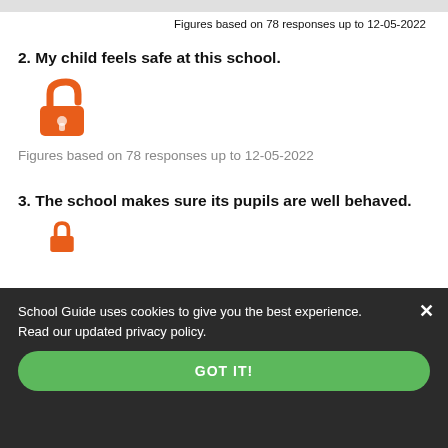Figures based on 78 responses up to 12-05-2022
2. My child feels safe at this school.
[Figure (illustration): Orange open padlock icon]
Figures based on 78 responses up to 12-05-2022
3. The school makes sure its pupils are well behaved.
[Figure (illustration): Orange padlock icon (partial, bottom of page)]
School Guide uses cookies to give you the best experience. Read our updated privacy policy.
GOT IT!